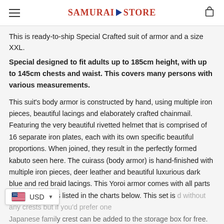Samurai Store
This is ready-to-ship Special Crafted suit of armor and a size XXL.
Special designed to fit adults up to 185cm height, with up to 145cm chests and waist. This covers many persons with various measurements.
This suit's body armor is constructed by hand, using multiple iron pieces, beautiful lacings and elaborately crafted chainmail. Featuring the very beautiful rivetted helmet that is comprised of 16 separate iron plates, each with its own specific beautiful proportions. When joined, they result in the perfectly formed kabuto seen here. The cuirass (body armor) is hand-finished with multiple iron pieces, deer leather and beautiful luxurious dark blue and red braid lacings. This Yoroi armor comes with all parts and accessories listed in the charts below. This set is [sold] without any crests but if you'd prefer one Japanese family crest can be added to the storage box for free. You can choose your favorite samurai crest from our list